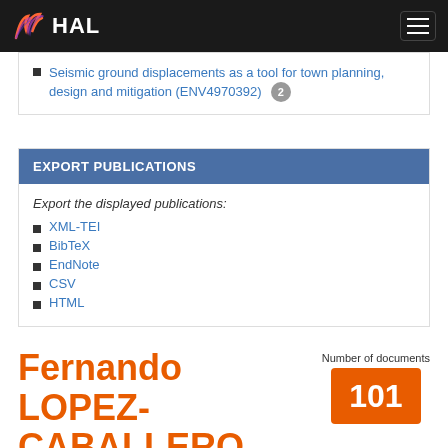HAL
Seismic ground displacements as a tool for town planning, design and mitigation (ENV4970392) [2]
EXPORT PUBLICATIONS
Export the displayed publications:
XML-TEI
BibTeX
EndNote
CSV
HTML
Fernando LOPEZ-CABALLERO, Professor (Professeur), Paris-
Number of documents 101